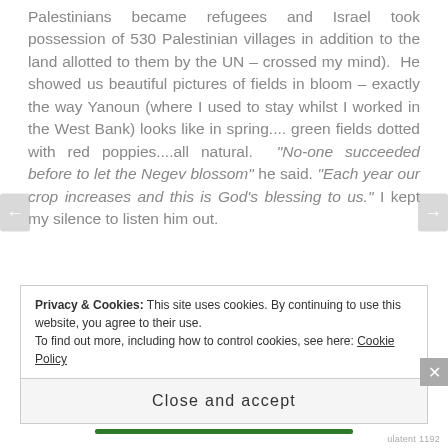Palestinians became refugees and Israel took possession of 530 Palestinian villages in addition to the land allotted to them by the UN – crossed my mind).  He showed us beautiful pictures of fields in bloom – exactly the way Yanoun (where I used to stay whilst I worked in the West Bank) looks like in spring.... green fields dotted with red poppies....all natural.  "No-one succeeded before to let the Negev blossom" he said. "Each year our crop increases and this is God's blessing to us." I kept my silence to listen him out.
Privacy & Cookies: This site uses cookies. By continuing to use this website, you agree to their use. To find out more, including how to control cookies, see here: Cookie Policy
Close and accept